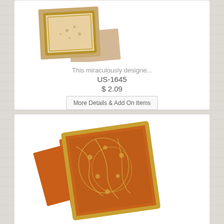[Figure (photo): Product photo of a beige/tan wedding invitation card with gold floral pattern border, shown with envelope, partial view at top of first card]
This miraculously designe...
US-1645
$ 2.09
More Details & Add On Items
[Figure (photo): Product photo of an orange/rust colored wedding invitation card with elaborate gold floral and vine pattern, gold border trim, shown at an angle with envelope pieces]